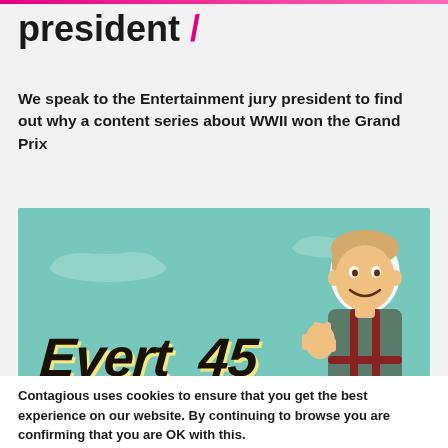president /
We speak to the Entertainment jury president to find out why a content series about WWII won the Grand Prix
[Figure (photo): Promotional image for 'Evert_45' showing the logo text in bold italic style with a young boy making a peace sign, wearing suspenders, against a teal/mint background with cloud silhouettes]
Contagious uses cookies to ensure that you get the best experience on our website. By continuing to browse you are confirming that you are OK with this.